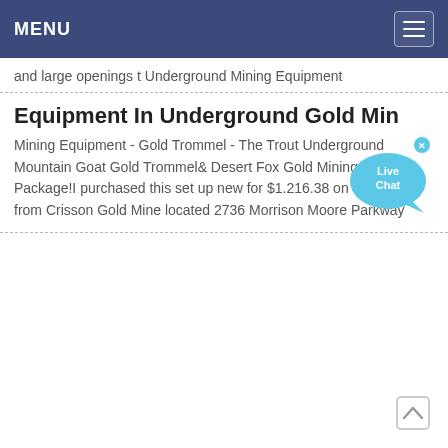MENU
and large openings t Underground Mining Equipment
Equipment In Underground Gold Min
[Figure (illustration): Live Chat bubble widget in teal/blue color with 'Live Chat' text and an X close button]
Mining Equipment - Gold Trommel - The Trout Underground Mountain Goat Gold Trommel& Desert Fox Gold Mining Machine Package!I purchased this set up new for $1.216.38 on 4/18/2013 from Crisson Gold Mine located 2736 Morrison Moore Parkway